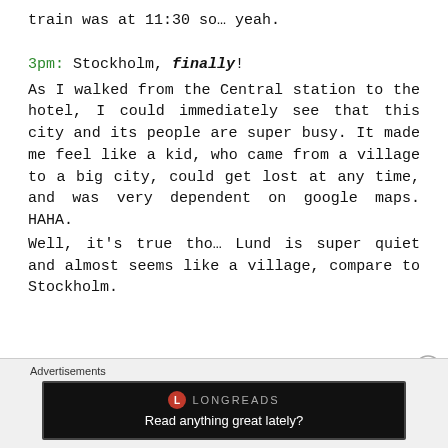train was at 11:30 so… yeah.
3pm: Stockholm, finally!
As I walked from the Central station to the hotel, I could immediately see that this city and its people are super busy. It made me feel like a kid, who came from a village to a big city, could get lost at any time, and was very dependent on google maps. HAHA.
Well, it's true tho... Lund is super quiet and almost seems like a village, compare to Stockholm.
Advertisements
[Figure (screenshot): Longreads advertisement banner with logo and tagline 'Read anything great lately?']